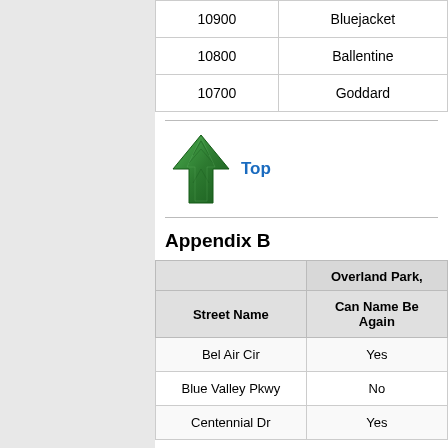|  |  |
| --- | --- |
| 10900 | Bluejacket |
| 10800 | Ballentine |
| 10700 | Goddard |
[Figure (other): Green upward arrow icon with tree texture, followed by blue bold 'Top' link text]
Appendix B
| Street Name | Can Name Be Again |
| --- | --- |
| Bel Air Cir | Yes |
| Blue Valley Pkwy | No |
| Centennial Dr | Yes |